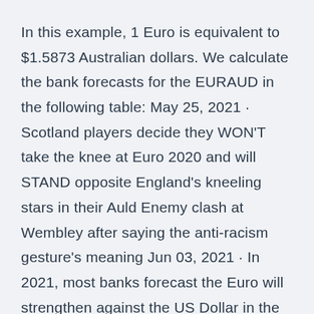In this example, 1 Euro is equivalent to $1.5873 Australian dollars. We calculate the bank forecasts for the EURAUD in the following table: May 25, 2021 · Scotland players decide they WON'T take the knee at Euro 2020 and will STAND opposite England's kneeling stars in their Auld Enemy clash at Wembley after saying the anti-racism gesture's meaning Jun 03, 2021 · In 2021, most banks forecast the Euro will strengthen against the US Dollar in the second half of the year. However, a severe second wave of coronavirus infections and uncertainty over the political and economic impact could see Euro forecasts change in 2021 and beyond.
At the time of writing the GBP/USD pairing are trading at around $1.4142 as USD tries to pullback from